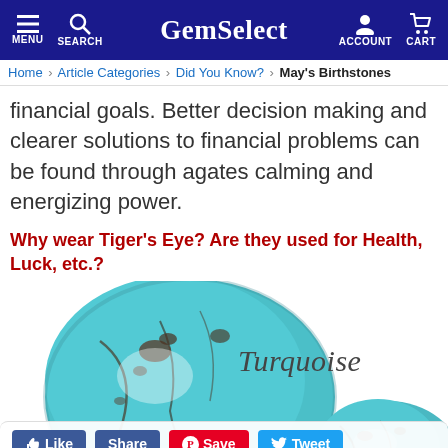GemSelect — MENU | SEARCH | ACCOUNT | CART
Home > Article Categories > Did You Know? > May's Birthstones
financial goals. Better decision making and clearer solutions to financial problems can be found through agates calming and energizing power.
Why wear Tiger's Eye? Are they used for Health, Luck, etc.?
[Figure (photo): Two turquoise gemstone cabochons (blue-green with dark matrix veining) with the label 'Turquoise' in italic serif font beside them.]